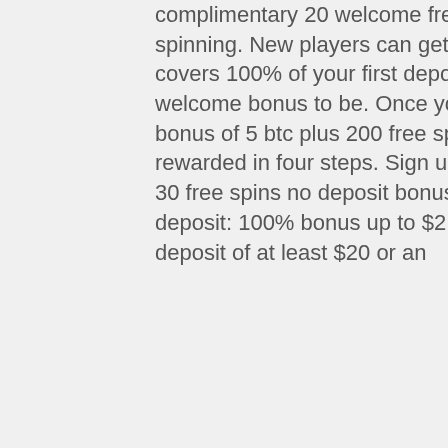complimentary 20 welcome free spins! absolutely no deposit is required to start spinning. New players can get their hands on a cool welcome bonus that covers 100% of your first deposit. Being a btc casino, it's only common for the welcome bonus to be. Once you sign up at bitstarz casino, you are eligible to a bonus of 5 btc plus 200 free spins on selected slot games. The bonus is rewarded in four steps. Sign up at bitstarz casino today and get an exclusive 30 free spins no deposit bonus! spins will be available on wolf gold,. First deposit: 100% bonus up to $2,000 or 1 btc plus 180 free spins – make the first deposit of at least $20 or an
Certes certains me diront qu'ils y parviennent, . Le mineur est remunere grace a la creation de Bitcoin ainsi que via les frais de transaction. CG Miner vous permettra aussi de miner des litecoin et autre monnaie